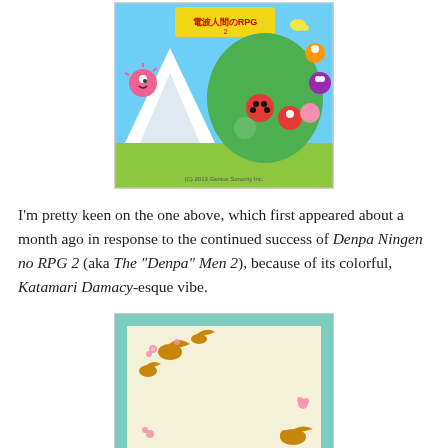[Figure (illustration): Colorful cartoon image from Denpa Ningen no RPG 2 / The Denpa Men 2 by Genius Sonority Inc. showing cute cartoon characters in costumes on a green and blue background with the game logo and copyright text '(C) 2013 Genius Sonority Inc.']
I'm pretty keen on the one above, which first appeared about a month ago in response to the continued success of Denpa Ningen no RPG 2 (aka The "Denpa" Men 2), because of its colorful, Katamari Damacy-esque vibe.
[Figure (illustration): Decorative Japanese New Year card style illustration on cream/beige background with teal wave border pattern, golden bird and floral decorations, and pink cherry blossom accents.]